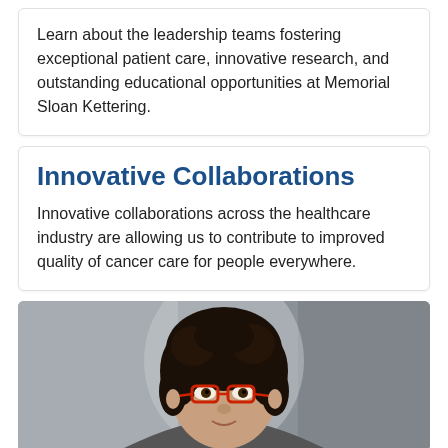Learn about the leadership teams fostering exceptional patient care, innovative research, and outstanding educational opportunities at Memorial Sloan Kettering.
Innovative Collaborations
Innovative collaborations across the healthcare industry are allowing us to contribute to improved quality of cancer care for people everywhere.
[Figure (photo): Portrait photo of a woman with curly dark hair and red-framed glasses, cropped at shoulders, blurred background]